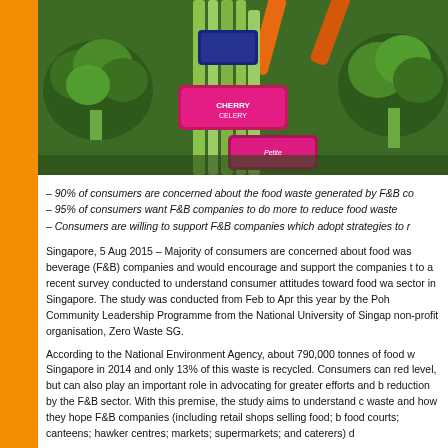[Figure (photo): Photograph of fresh vegetables including broccoli, celery, and carrots with pink/purple packaging labels visible.]
– 90% of consumers are concerned about the food waste generated by F&B co…
– 95% of consumers want F&B companies to do more to reduce food waste
– Consumers are willing to support F&B companies which adopt strategies to r…
Singapore, 5 Aug 2015 – Majority of consumers are concerned about food was… beverage (F&B) companies and would encourage and support the companies t… to a recent survey conducted to understand consumer attitudes toward food wa… sector in Singapore. The study was conducted from Feb to Apr this year by the… Poh Community Leadership Programme from the National University of Singap… non-profit organisation, Zero Waste SG.
According to the National Environment Agency, about 790,000 tonnes of food w… Singapore in 2014 and only 13% of this waste is recycled. Consumers can red… level, but can also play an important role in advocating for greater efforts and b… reduction by the F&B sector. With this premise, the study aims to understand c… waste and how they hope F&B companies (including retail shops selling food; b… food courts; canteens; hawker centres; markets; supermarkets; and caterers) d…